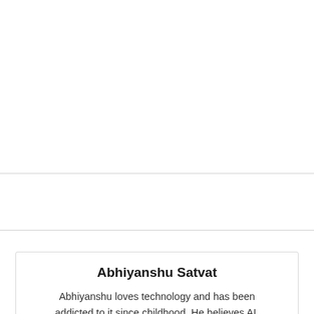Abhiyanshu Satvat
Abhiyanshu loves technology and has been addicted to it since childhood. He believes AI, automation, and every day new tech